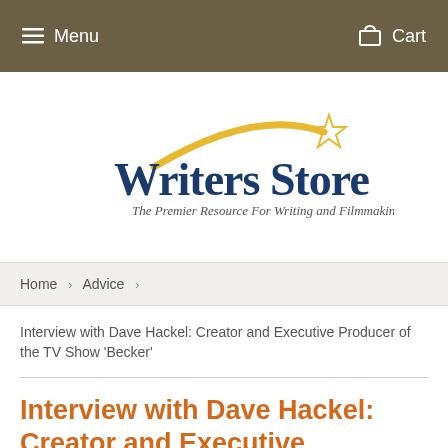Menu   Cart
[Figure (logo): Writers Store logo — shooting star in gold above the text 'Writers Store' in dark blue serif font, with tagline 'The Premier Resource For Writing and Filmmaking Tools']
Home › Advice ›
Interview with Dave Hackel: Creator and Executive Producer of the TV Show 'Becker'
Interview with Dave Hackel: Creator and Executive Producer of the TV Show